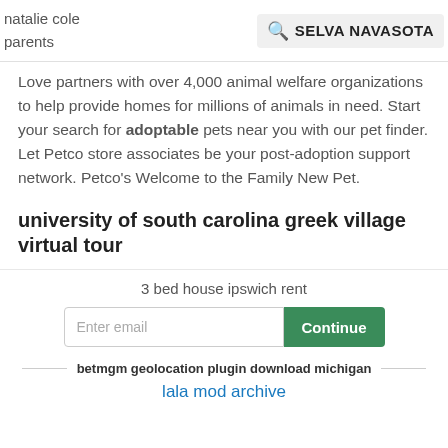natalie cole parents
SELVA NAVASOTA
Love partners with over 4,000 animal welfare organizations to help provide homes for millions of animals in need. Start your search for adoptable pets near you with our pet finder. Let Petco store associates be your post-adoption support network. Petco's Welcome to the Family New Pet.
university of south carolina greek village virtual tour
Rescue Dog for Adoption .Brittany Spaniel in Harrison, New York. Stella-Courtesy Listing. Brittany Spaniel Harrison, New...
3 bed house ipswich rent
Enter email
Continue
betmgm geolocation plugin download michigan
lala mod archive